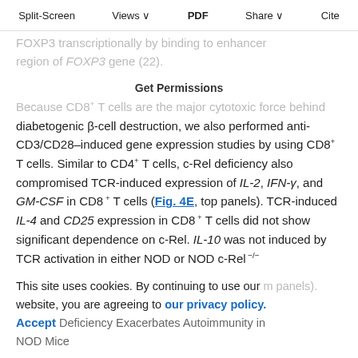Split-Screen | Views | PDF | Share | Cite
FOXP3 transcriptionally by binding to enhancer region of FOXP3 gene (22).
Get Permissions
Because CD8+ T cells are the major cytotoxic force behind diabetogenic β-cell destruction, we also performed anti-CD3/CD28–induced gene expression studies by using CD8+ T cells. Similar to CD4+ T cells, c-Rel deficiency also compromised TCR-induced expression of IL-2, IFN-γ, and GM-CSF in CD8+ T cells (Fig. 4E, top panels). TCR-induced IL-4 and CD25 expression in CD8+ T cells did not show significant dependence on c-Rel. IL-10 was not induced by TCR activation in either NOD or NOD c-Rel−/− CD8 T cells, and its expression showed a decrease from baseline levels to TCR stimulation (bottom panels).
This site uses cookies. By continuing to use our website, you are agreeing to our privacy policy.
Accept
c-Rel Deficiency Exacerbates Autoimmunity in NOD Mice